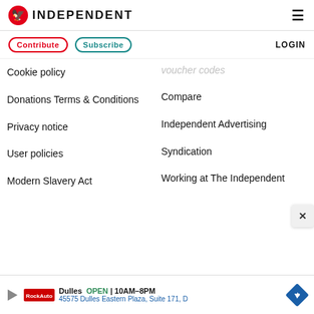INDEPENDENT
Contribute
Subscribe
LOGIN
Cookie policy
Donations Terms & Conditions
Privacy notice
User policies
Modern Slavery Act
Voucher codes
Compare
Independent Advertising
Syndication
Working at The Independent
[Figure (other): Advertisement banner for Dulles store: OPEN 10AM-8PM, 45575 Dulles Eastern Plaza, Suite 171, D]